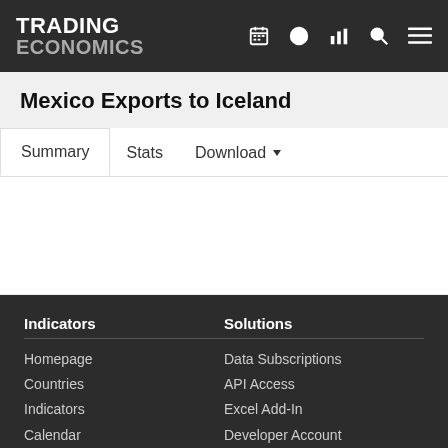TRADING ECONOMICS
Mexico Exports to Iceland
Summary   Stats   Download
Indicators: Homepage, Countries, Indicators, Calendar | Solutions: Data Subscriptions, API Access, Excel Add-In, Developer Account